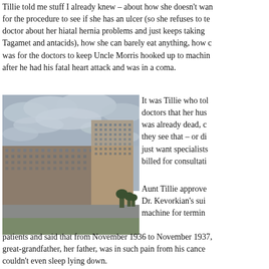Tillie told me stuff I already knew – about how she doesn't want for the procedure to see if she has an ulcer (so she refuses to tell the doctor about her hiatal hernia problems and just keeps taking Tagamet and antacids), how she can barely eat anything, how cruel it was for the doctors to keep Uncle Morris hooked up to machines after he had his fatal heart attack and was in a coma.
[Figure (photo): Photograph of high-rise apartment buildings against a cloudy sky, with a parking lot and trees in the foreground.]
It was Tillie who told the doctors that her husband was already dead, couldn't they see that – or did they just want specialists to be billed for consultations?
Aunt Tillie approved of Dr. Kevorkian's suicide machine for terminally ill patients and said that from November 1936 to November 1937, my great-grandfather, her father, was in such pain from his cancer he couldn't even sleep lying down.